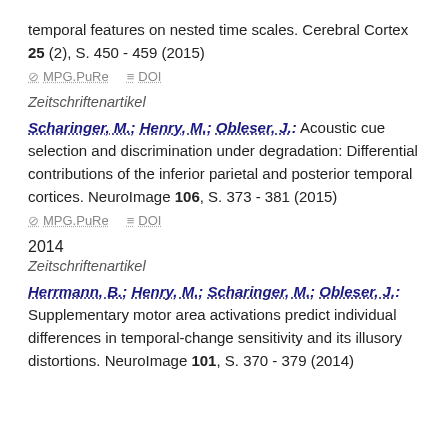temporal features on nested time scales. Cerebral Cortex 25 (2), S. 450 - 459 (2015)
⊘ MPG.PuRe   ≡ DOI
Zeitschriftenartikel
Scharinger, M.; Henry, M.; Obleser, J.: Acoustic cue selection and discrimination under degradation: Differential contributions of the inferior parietal and posterior temporal cortices. NeuroImage 106, S. 373 - 381 (2015)
⊘ MPG.PuRe   ≡ DOI
2014
Zeitschriftenartikel
Herrmann, B.; Henry, M.; Scharinger, M.; Obleser, J.: Supplementary motor area activations predict individual differences in temporal-change sensitivity and its illusory distortions. NeuroImage 101, S. 370 - 379 (2014)